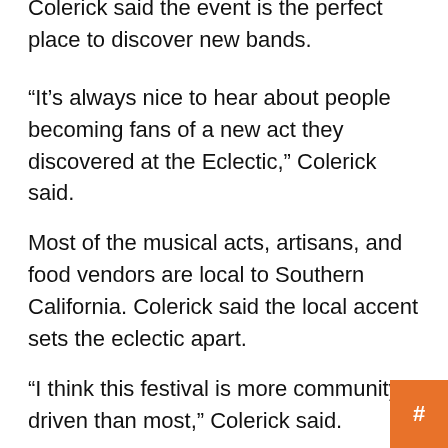Colerick said the event is the perfect place to discover new bands.
“It’s always nice to hear about people becoming fans of a new act they discovered at the Eclectic,” Colerick said.
Most of the musical acts, artisans, and food vendors are local to Southern California. Colerick said the local accent sets the eclectic apart.
“I think this festival is more community driven than most,” Colerick said.
“There are a lot of people in South Pasadena who work in entertainment and the arts. So you have a lot of creative people. There are many bands